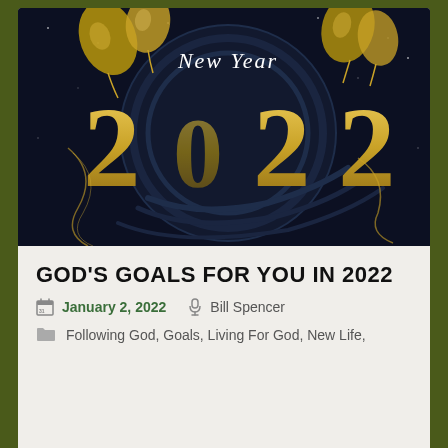[Figure (illustration): New Year 2022 celebration illustration with dark navy background, large gold '2022' text, circular design elements, gold balloons, and 'New Year' text in script font at the top center.]
GOD'S GOALS FOR YOU IN 2022
January 2, 2022   Bill Spencer
Following God, Goals, Living For God, New Life,